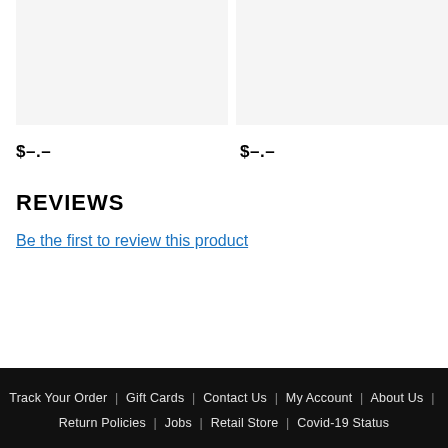[Figure (photo): Two product image placeholders side by side, light gray background]
$–.–
$–.–
REVIEWS
Be the first to review this product
Track Your Order | Gift Cards | Contact Us | My Account | About Us | Return Policies | Jobs | Retail Store | Covid-19 Status